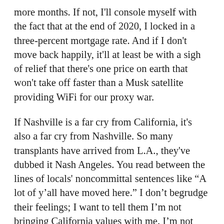more months. If not, I'll console myself with the fact that at the end of 2020, I locked in a three-percent mortgage rate. And if I don't move back happily, it'll at least be with a sigh of relief that there's one price on earth that won't take off faster than a Musk satellite providing WiFi for our proxy war.
If Nashville is a far cry from California, it's also a far cry from Nashville. So many transplants have arrived from L.A., they've dubbed it Nash Angeles. You read between the lines of locals' noncommittal sentences like "A lot of y'all have moved here." I don't begrudge their feelings; I want to tell them I'm not bringing California values with me. I'm not even from there. I just want to live and let live and hopefully continue paying my bills on time.
I've enjoyed exploring the city as much as I've enjoyed mocking the false prognostications of economists and leaders regarding the state of the